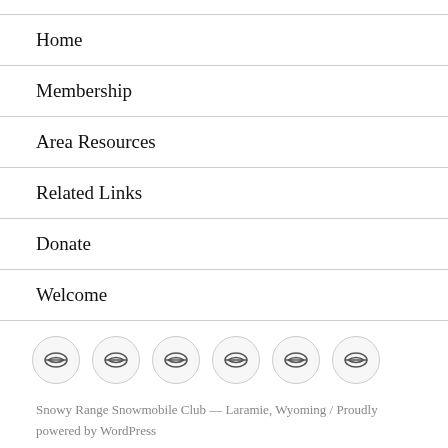Home
Membership
Area Resources
Related Links
Donate
Welcome
[Figure (other): Six circular social media icon buttons in a row]
Snowy Range Snowmobile Club — Laramie, Wyoming / Proudly powered by WordPress